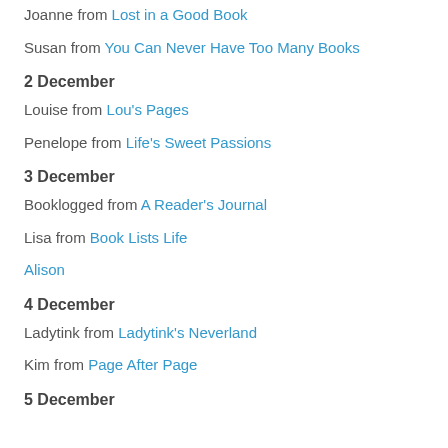Joanne from Lost in a Good Book
Susan from You Can Never Have Too Many Books
2 December
Louise from Lou's Pages
Penelope from Life's Sweet Passions
3 December
Booklogged from A Reader's Journal
Lisa from Book Lists Life
Alison
4 December
Ladytink from Ladytink's Neverland
Kim from Page After Page
5 December